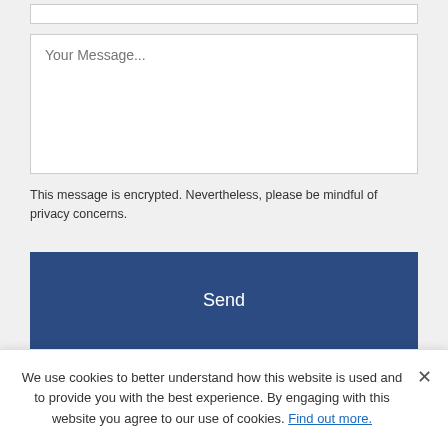Your Message...
This message is encrypted. Nevertheless, please be mindful of privacy concerns.
Send
Newsletter
We use cookies to better understand how this website is used and to provide you with the best experience. By engaging with this website you agree to our use of cookies. Find out more.